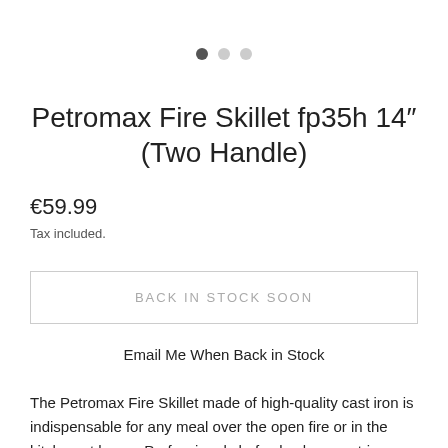[Figure (other): Three dot carousel indicator with one filled dark dot and two light gray dots]
Petromax Fire Skillet fp35h 14″ (Two Handle)
€59.99
Tax included.
BACK IN STOCK SOON
Email Me When Back in Stock
The Petromax Fire Skillet made of high-quality cast iron is indispensable for any meal over the open fire or in the kitchen at home. Professional chefs also love cast-iron